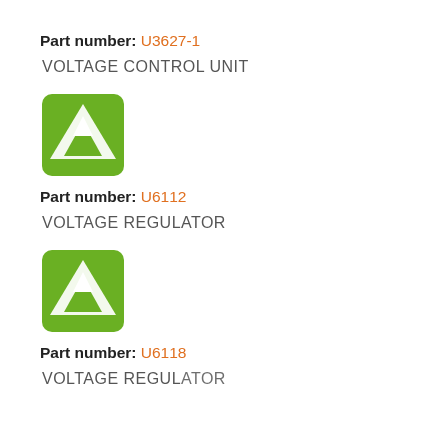Part number: U3627-1
VOLTAGE CONTROL UNIT
[Figure (logo): Green rounded square logo with white upward-pointing triangle/arrow icon (Autodata or similar brand logo)]
Part number: U6112
VOLTAGE REGULATOR
[Figure (logo): Green rounded square logo with white upward-pointing triangle/arrow icon (Autodata or similar brand logo)]
Part number: U6118
VOLTAGE REGULATOR